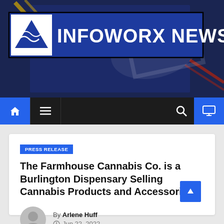[Figure (logo): Infoworx News logo on dark blue banner background with decorative brushstroke graphics]
[Figure (other): Navigation bar with home icon, hamburger menu, search icon, and monitor icon]
PRESS RELEASE
The Farmhouse Cannabis Co. is a Burlington Dispensary Selling Cannabis Products and Accessories
By Arlene Huff
Jun 22, 2022